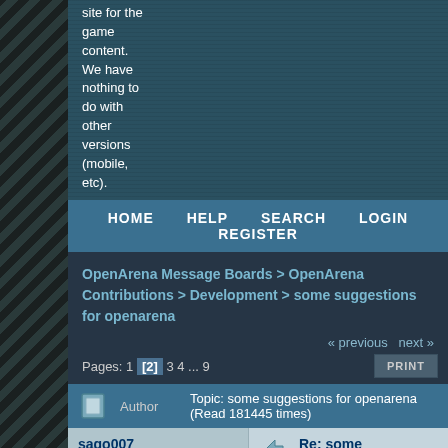site for the game content. We have nothing to do with other versions (mobile, etc).
HOME   HELP   SEARCH   LOGIN   REGISTER
OpenArena Message Boards > OpenArena Contributions > Development > some suggestions for openarena
« previous next »
Pages: 1 [2] 3 4 ... 9   PRINT
Author   Topic: some suggestions for openarena  (Read 181445 times)
sago007
Posts a lot
★
Cakes 62
Posts: 1664
Re: some suggestions for openarena
« Reply #25 on: June 12, 2009, 06:43:43 PM »
I did not notice but after analyzing the problem I found that it was introduced in revision 108 (while working on the vote system - completly unrelated